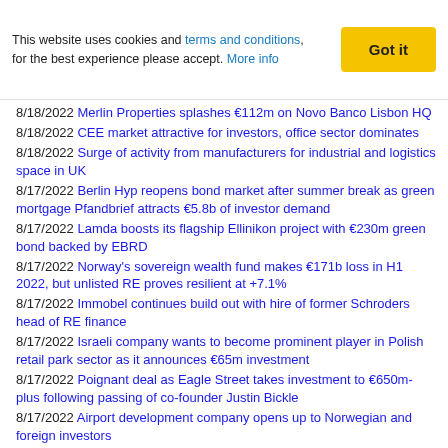This website uses cookies and terms and conditions, for the best experience please accept. More info
8/18/2022 Merlin Properties splashes €112m on Novo Banco Lisbon HQ
8/18/2022 CEE market attractive for investors, office sector dominates
8/18/2022 Surge of activity from manufacturers for industrial and logistics space in UK
8/17/2022 Berlin Hyp reopens bond market after summer break as green mortgage Pfandbrief attracts €5.8b of investor demand
8/17/2022 Lamda boosts its flagship Ellinikon project with €230m green bond backed by EBRD
8/17/2022 Norway's sovereign wealth fund makes €171b loss in H1 2022, but unlisted RE proves resilient at +7.1%
8/17/2022 Immobel continues build out with hire of former Schroders head of RE finance
8/17/2022 Israeli company wants to become prominent player in Polish retail park sector as it announces €65m investment
8/17/2022 Poignant deal as Eagle Street takes investment to €650m-plus following passing of co-founder Justin Bickle
8/17/2022 Airport development company opens up to Norwegian and foreign investors
8/17/2022 Irish bank AIB awards beneficial rate on €77m loan to Kennedy Wilson for green development